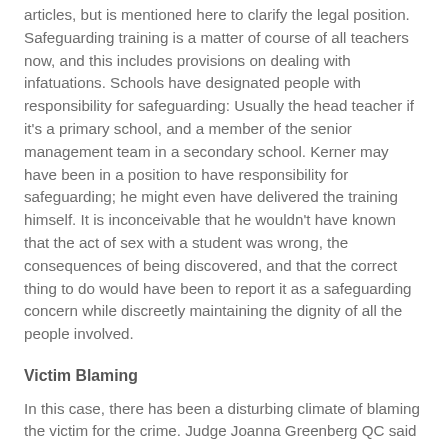articles, but is mentioned here to clarify the legal position. Safeguarding training is a matter of course of all teachers now, and this includes provisions on dealing with infatuations. Schools have designated people with responsibility for safeguarding: Usually the head teacher if it's a primary school, and a member of the senior management team in a secondary school. Kerner may have been in a position to have responsibility for safeguarding; he might even have delivered the training himself. It is inconceivable that he wouldn't have known that the act of sex with a student was wrong, the consequences of being discovered, and that the correct thing to do would have been to report it as a safeguarding concern while discreetly maintaining the dignity of all the people involved.
Victim Blaming
In this case, there has been a disturbing climate of blaming the victim for the crime. Judge Joanna Greenberg QC said that the girl targeted Kerner at an “emotionally vulnerable” time. She was also quoted to have justified her decision by saying of the victim: “If grooming is the right word to use, it